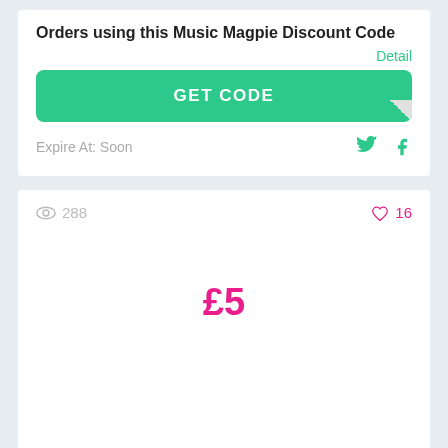Orders using this Music Magpie Discount Code
Detail
GET CODE
Expire At: Soon
288
16
£5
Enjoy £5 Bonus Trade-In on this Music Magpie Discount...